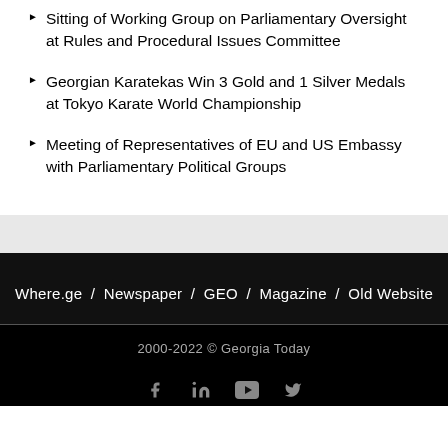Sitting of Working Group on Parliamentary Oversight at Rules and Procedural Issues Committee
Georgian Karatekas Win 3 Gold and 1 Silver Medals at Tokyo Karate World Championship
Meeting of Representatives of EU and US Embassy with Parliamentary Political Groups
Where.ge / Newspaper / GEO / Magazine / Old Website
2000-2022 © Georgia Today